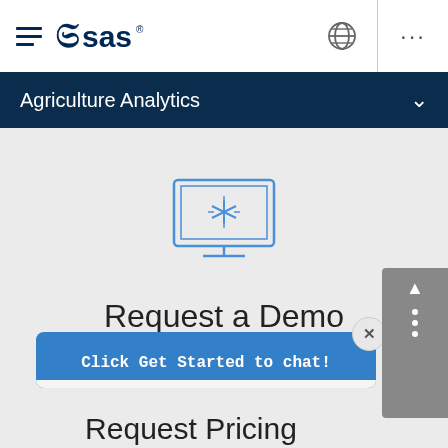[Figure (logo): SAS logo with hamburger menu icon on left side of top navigation bar]
Agriculture Analytics
[Figure (illustration): Monitor/computer screen icon with a snowflake or star symbol on screen, rendered in blue outline style]
Request a Demo
Click Get Started to chat!
Request Pricing